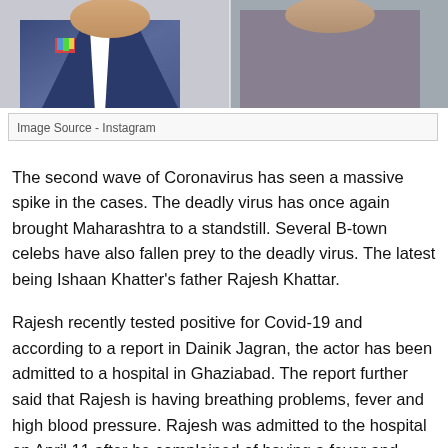[Figure (photo): Cropped photo strip showing two people, one in a blue suit with a colorful pocket square, partially visible at top of page]
Image Source - Instagram
The second wave of Coronavirus has seen a massive spike in the cases. The deadly virus has once again brought Maharashtra to a standstill. Several B-town celebs have also fallen prey to the deadly virus. The latest being Ishaan Khatter's father Rajesh Khattar.
Rajesh recently tested positive for Covid-19 and according to a report in Dainik Jagran, the actor has been admitted to a hospital in Ghaziabad. The report further said that Rajesh is having breathing problems, fever and high blood pressure. Rajesh was admitted to the hospital on April 11 after he complained of having a fever and facing breathing issue. Following which he also took the [continues below]